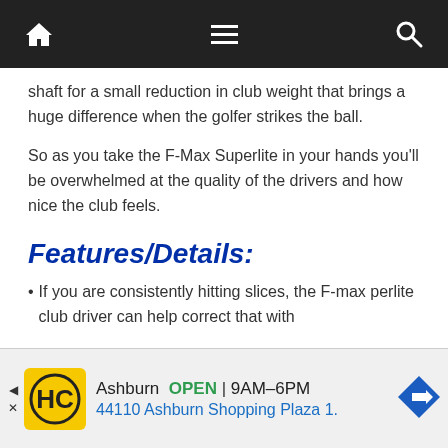[Navigation bar with home, menu, and search icons]
shaft for a small reduction in club weight that brings a huge difference when the golfer strikes the ball.
So as you take the F-Max Superlite in your hands you'll be overwhelmed at the quality of the drivers and how nice the club feels.
Features/Details:
If you are consistently hitting slices, the F-max perlite club driver can help correct that with
Ashburn  OPEN  9AM–6PM  44110 Ashburn Shopping Plaza 1.